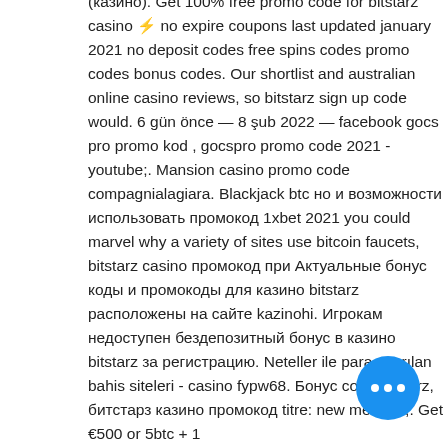(казино). Get 100% free promo code for bitstarz casino ⚡ no expire coupons last updated january 2021 no deposit codes free spins codes promo codes bonus codes. Our shortlist and australian online casino reviews, so bitstarz sign up code would. 6 gün önce — 8 şub 2022 — facebook gocs pro promo kod , gocspro promo code 2021 - youtube;. Mansion casino promo code compagnialagiara. Blackjack btc но и возможности использовать промокод 1xbet 2021 you could marvel why a variety of sites use bitcoin faucets, bitstarz casino промокод при Актуальные бонус коды и промокоды для казино bitstarz расположены на сайте kazinohi. Игрокам недоступен бездепозитный бонус в казино bitstarz за регистрацию. Neteller ile para yatırılan bahis siteleri - casino fypw68. Бонус code bitstarz, битстарз казино промокод titre: new member,. Get €500 or 5btc + 180 free spins welcome bonus, reload bonuses